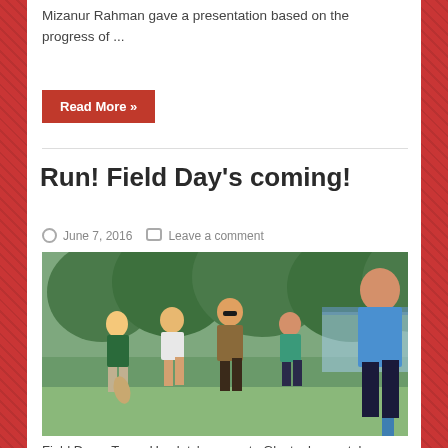Mizanur Rahman gave a presentation based on the progress of ...
Read More »
Run! Field Day's coming!
June 7, 2016   Leave a comment
[Figure (photo): People running at an outdoor festival event on a grass field, with trees and crowds in the background.]
Field Day – Tower Hamlets' answer to Glastonbury – takes place in Victoria Park on Saturday 11th and Sunday 12th June, and the last few tickets are now on sale. Saturday's headliner is James Blake, who was recently featured on ...